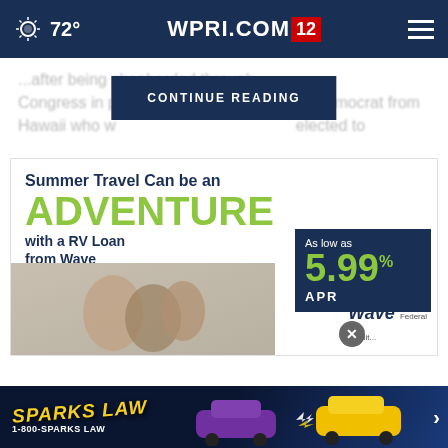72° WPRI.COM 12
...after being shepherded through Congress in pa... ...emocrat from Hawaii who w... ...elected to...
CONTINUE READING
[Figure (advertisement): Wave Federal Credit Union RV Loan ad: Summer Travel Can be an ADVENTURE with a RV Loan from Wave. As low as 5.99% APR. Shows family with RV.]
[Figure (advertisement): Sparks Law 1-800-SPARKS LAW advertisement with yellow and purple cars crashing.]